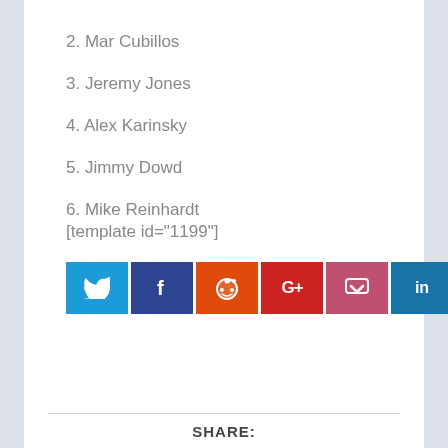2. Mar Cubillos
3. Jeremy Jones
4. Alex Karinsky
5. Jimmy Dowd
6. Mike Reinhardt
[template id="1199"]
[Figure (infographic): Row of six social media share buttons: Twitter (blue), Facebook (dark blue), Reddit (orange), Google+ (red), Pocket (pink-red), LinkedIn (blue)]
SHARE: